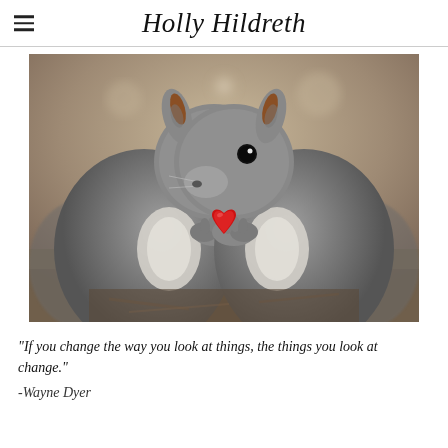Holly Hildreth
[Figure (photo): Two mirrored squirrels facing each other, both holding a small red object (heart/berry) between their paws, with blurred brown background]
"If you change the way you look at things, the things you look at change."
-Wayne Dyer